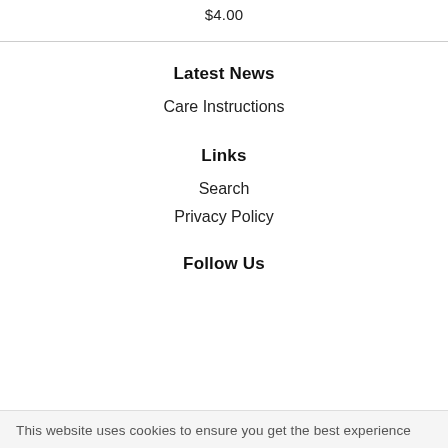$4.00
Latest News
Care Instructions
Links
Search
Privacy Policy
Follow Us
This website uses cookies to ensure you get the best experience